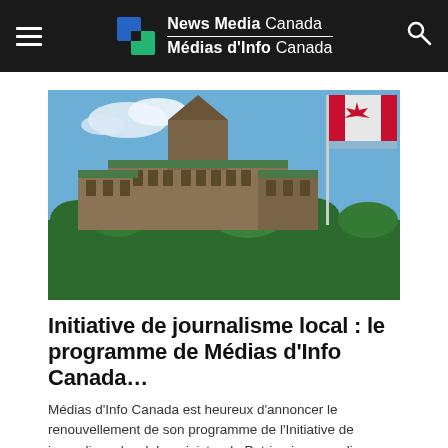News Media Canada / Médias d'Info Canada
[Figure (photo): Canadian Parliament Hill building with a Canadian flag waving in the foreground against a blue sky with white clouds and green trees below.]
Initiative de journalisme local : le programme de Médias d'Info Canada…
Médias d'Info Canada est heureux d'annoncer le renouvellement de son programme de l'Initiative de journalisme local.  Le ministre du Patrimoine canadien a approuvé aujourd'hui…